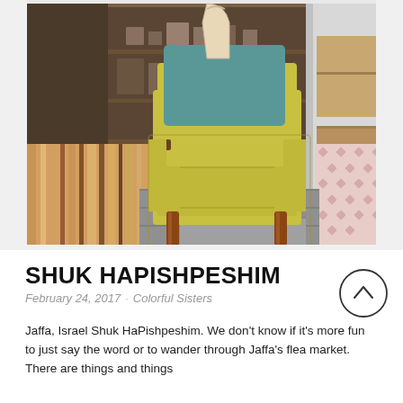[Figure (photo): A colorful mid-century modern armchair with yellow/chartreuse upholstery and a teal/turquoise back cushion, wooden armrests and legs, photographed in a flea market setting surrounded by striped fabric, wooden shelves, and other vintage items.]
SHUK HAPISHPESHIM
February 24, 2017 · Colorful Sisters
Jaffa, Israel Shuk HaPishpeshim. We don't know if it's more fun to just say the word or to wander through Jaffa's flea market. There are things and things